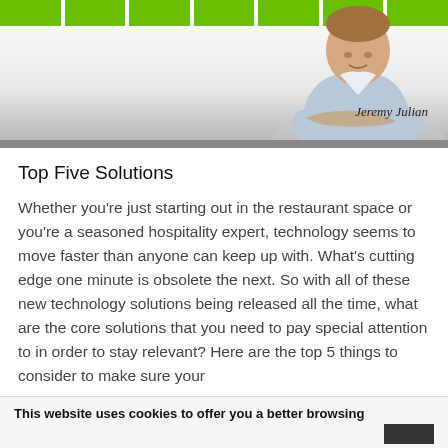[Figure (photo): Website header banner with green blocks at the top, a man in a light blue shirt with arms crossed (Jeremy Julian), gray gradient background]
Top Five Solutions
Whether you’re just starting out in the restaurant space or you’re a seasoned hospitality expert, technology seems to move faster than anyone can keep up with. What’s cutting edge one minute is obsolete the next. So with all of these new technology solutions being released all the time, what are the core solutions that you need to pay special attention to in order to stay relevant? Here are the top 5 things to consider to make sure your
This website uses cookies to offer you a better browsing